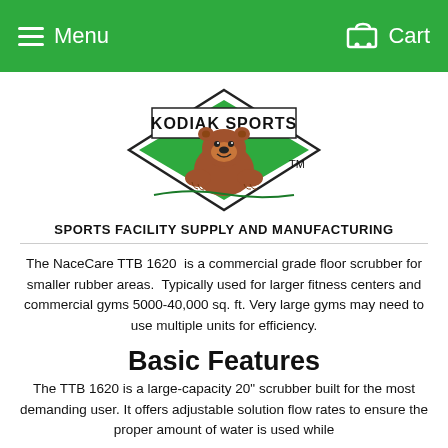Menu   Cart
[Figure (logo): Kodiak Sports logo: diamond shape with bear graphic and text KODIAK SPORTS, with TM mark]
SPORTS FACILITY SUPPLY AND MANUFACTURING
The NaceCare TTB 1620 is a commercial grade floor scrubber for smaller rubber areas. Typically used for larger fitness centers and commercial gyms 5000-40,000 sq. ft. Very large gyms may need to use multiple units for efficiency.
Basic Features
The TTB 1620 is a large-capacity 20" scrubber built for the most demanding user. It offers adjustable solution flow rates to ensure the proper amount of water is used while